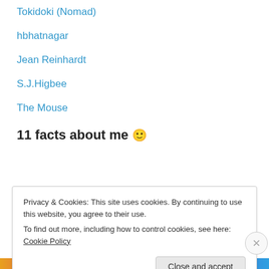Tokidoki (Nomad)
hbhatnagar
Jean Reinhardt
S.J.Higbee
The Mouse
11 facts about me 🙂
Privacy & Cookies: This site uses cookies. By continuing to use this website, you agree to their use.
To find out more, including how to control cookies, see here: Cookie Policy
Close and accept